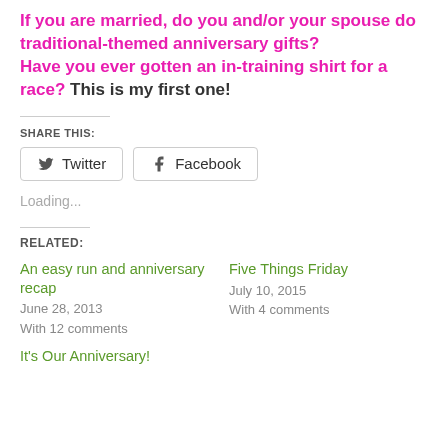If you are married, do you and/or your spouse do traditional-themed anniversary gifts? Have you ever gotten an in-training shirt for a race? This is my first one!
SHARE THIS:
[Figure (other): Twitter and Facebook share buttons]
Loading...
RELATED:
An easy run and anniversary recap
June 28, 2013
With 12 comments
Five Things Friday
July 10, 2015
With 4 comments
It's Our Anniversary!